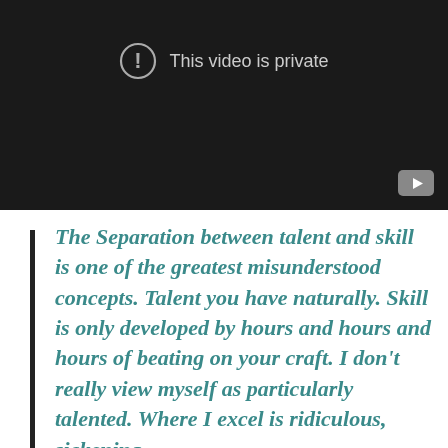[Figure (screenshot): Embedded video player showing a dark/black background with a warning icon and the message 'This video is private', and a YouTube logo button in the bottom-right corner.]
The Separation between talent and skill is one of the greatest misunderstood concepts. Talent you have naturally. Skill is only developed by hours and hours and hours of beating on your craft. I don't really view myself as particularly talented. Where I excel is ridiculous, sickening